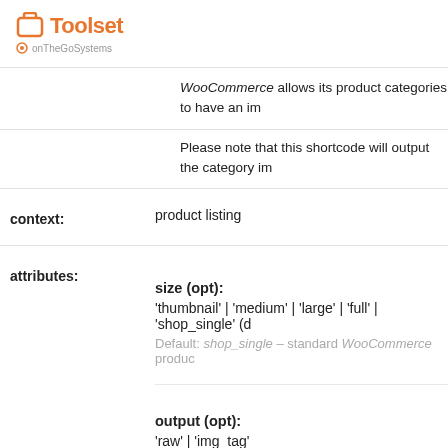Toolset by onTheGoSystems
WooCommerce allows its product categories to have an im
Please note that this shortcode will output the category im
context:
product listing
attributes:
size (opt):
'thumbnail' | 'medium' | 'large' | 'full' | 'shop_single' (d
Default: shop_single – standard WooCommerce produc
output (opt):
'raw' | 'img_tag'
This attribute format the output. Possible values: